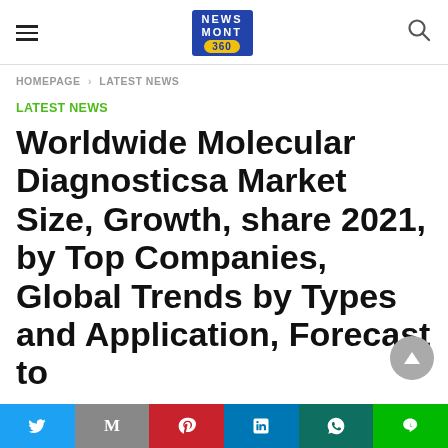NEWS MONT 360 [logo] — hamburger menu and search icon
HOMEPAGE › LATEST NEWS
LATEST NEWS
Worldwide Molecularsa Market Size, Growth, share 2021, by Top Companies, Global Trends by Types and Application, Forecast to